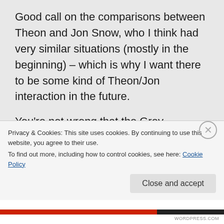Good call on the comparisons between Theon and Jon Snow, who I think had very similar situations (mostly in the beginning) – which is why I want there to be some kind of Theon/Jon interaction in the future.
You're not wrong that the Grey Wedding was beautifully done. Sansa looked great, the snowfall ceremony by the weirwood tree was lovely. It's just that we knew what was going to happen that made it rough. If
Privacy & Cookies: This site uses cookies. By continuing to use this website, you agree to their use.
To find out more, including how to control cookies, see here: Cookie Policy